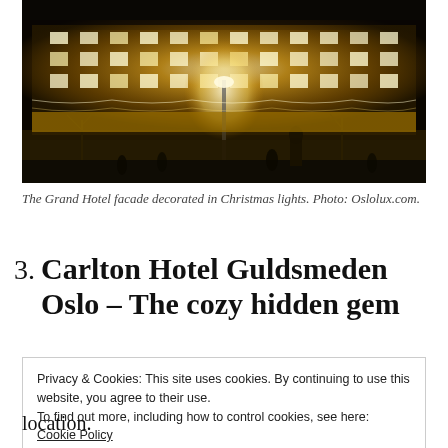[Figure (photo): Night photograph of The Grand Hotel facade decorated with Christmas lights, illuminated in warm golden light against a dark sky, with people and trees visible in the foreground.]
The Grand Hotel facade decorated in Christmas lights. Photo: Oslolux.com.
3. Carlton Hotel Guldsmeden Oslo – The cozy hidden gem
Privacy & Cookies: This site uses cookies. By continuing to use this website, you agree to their use.
To find out more, including how to control cookies, see here: Cookie Policy
location.